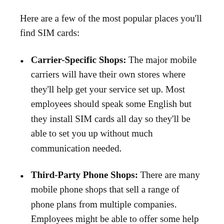Here are a few of the most popular places you'll find SIM cards:
Carrier-Specific Shops: The major mobile carriers will have their own stores where they'll help get your service set up. Most employees should speak some English but they install SIM cards all day so they'll be able to set you up without much communication needed.
Third-Party Phone Shops: There are many mobile phone shops that sell a range of phone plans from multiple companies. Employees might be able to offer some help getting set up but service probably won't be as good as